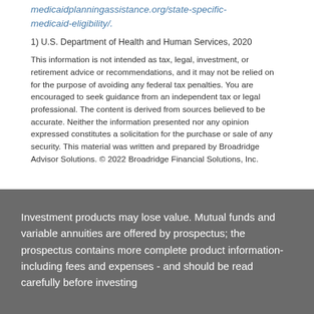medicaidplanningassistance.org/state-specific-medicaid-eligibility/.
1) U.S. Department of Health and Human Services, 2020
This information is not intended as tax, legal, investment, or retirement advice or recommendations, and it may not be relied on for the purpose of avoiding any federal tax penalties. You are encouraged to seek guidance from an independent tax or legal professional. The content is derived from sources believed to be accurate. Neither the information presented nor any opinion expressed constitutes a solicitation for the purchase or sale of any security. This material was written and prepared by Broadridge Advisor Solutions. © 2022 Broadridge Financial Solutions, Inc.
Investment products may lose value. Mutual funds and variable annuities are offered by prospectus; the prospectus contains more complete product information-including fees and expenses - and should be read carefully before investing